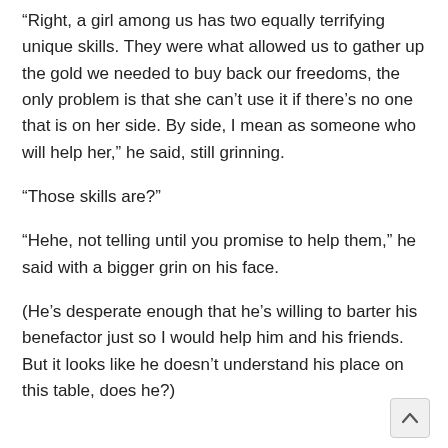"Right, a girl among us has two equally terrifying unique skills. They were what allowed us to gather up the gold we needed to buy back our freedoms, the only problem is that she can't use it if there's no one that is on her side. By side, I mean as someone who will help her," he said, still grinning.
"Those skills are?"
"Hehe, not telling until you promise to help them," he said with a bigger grin on his face.
(He's desperate enough that he's willing to barter his benefactor just so I would help him and his friends. But it looks like he doesn't understand his place on this table, does he?)